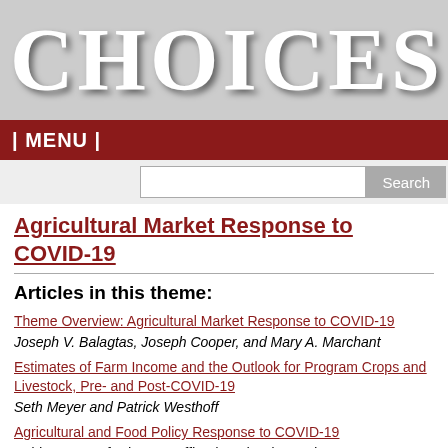CHOICES
| MENU |
Agricultural Market Response to COVID-19
Articles in this theme:
Theme Overview: Agricultural Market Response to COVID-19
Joseph V. Balagtas, Joseph Cooper, and Mary A. Marchant
Estimates of Farm Income and the Outlook for Program Crops and Livestock, Pre- and Post-COVID-19
Seth Meyer and Patrick Westhoff
Agricultural and Food Policy Response to COVID-19
Ashley Hungerford, Anne Effland, and Robert Johansson
Impact of COVID-19 and the Lockdowns on Labor-Intensive Produce Markets, with Implication for Hired Farm Labor